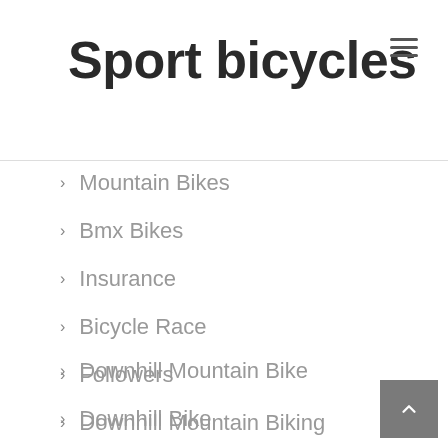Sport bicycles
Mountain Bikes
Bmx Bikes
Insurance
Bicycle Race
Followers
Downhill Mountain Biking
Downhill Mountain Bike
Downhill Bike